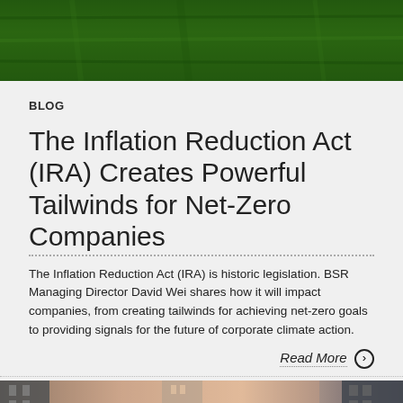[Figure (photo): Dark green textured background image at top of page]
BLOG
The Inflation Reduction Act (IRA) Creates Powerful Tailwinds for Net-Zero Companies
The Inflation Reduction Act (IRA) is historic legislation. BSR Managing Director David Wei shares how it will impact companies, from creating tailwinds for achieving net-zero goals to providing signals for the future of corporate climate action.
Read More →
[Figure (photo): Street-level photo of tall buildings/skyscrapers, warm tones, partially visible at bottom of page]